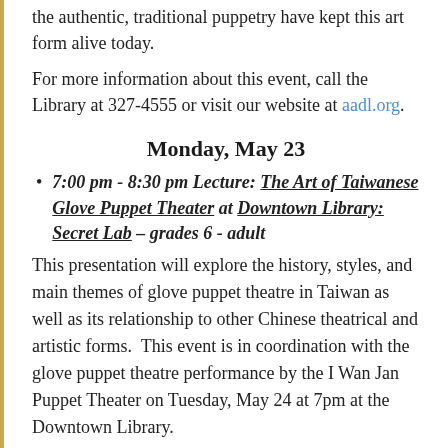the authentic, traditional puppetry have kept this art form alive today.
For more information about this event, call the Library at 327-4555 or visit our website at aadl.org.
Monday, May 23
7:00 pm - 8:30 pm Lecture: The Art of Taiwanese Glove Puppet Theater at Downtown Library: Secret Lab – grades 6 - adult
This presentation will explore the history, styles, and main themes of glove puppet theatre in Taiwan as well as its relationship to other Chinese theatrical and artistic forms.  This event is in coordination with the glove puppet theatre performance by the I Wan Jan Puppet Theater on Tuesday, May 24 at 7pm at the Downtown Library.
Glove puppet (also called hand puppet) theatre is a traditional theatrical art form that combines aspects of folk arts such as woodcarving and embroidery with traditional music and Chinese